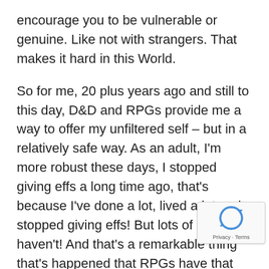encourage you to be vulnerable or genuine. Like not with strangers. That makes it hard in this World.
So for me, 20 plus years ago and still to this day, D&D and RPGs provide me a way to offer my unfiltered self – but in a relatively safe way. As an adult, I'm more robust these days, I stopped giving effs a long time ago, that's because I've done a lot, lived a lot and stopped giving effs! But lots of people haven't! And that's a remarkable thing that's happened that RPGs have that computer game RPGs probably will never have. Which is why I like games that focus like we do on narrative storytelling. Yeah, I like loot, I like playing mons I like playing stupid voices, but yeah it's the shared